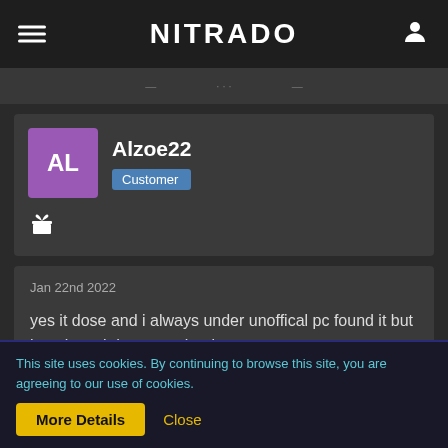NITRADO
[Figure (screenshot): Blurred navigation bar with partial menu items visible]
Alzoe22
Customer
[Figure (other): Gift icon]
Jan 22nd 2022

yes it dose and i always under unoffical pc found it but its private i dont want it private
This site uses cookies. By continuing to browse this site, you are agreeing to our use of cookies.
More Details  Close